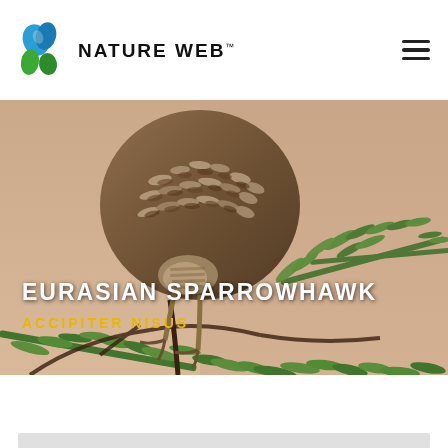NATURE WEB™
[Figure (photo): Close-up photograph of a Eurasian Sparrowhawk (Accipiter nisus) perched on a tree branch with green feathery leaves (acacia-type foliage). The bird has brown and white speckled plumage visible from below/side angle. Muted beige/tan sky background.]
EURASIAN SPARROWHAWK
ACCIPITER NISUS